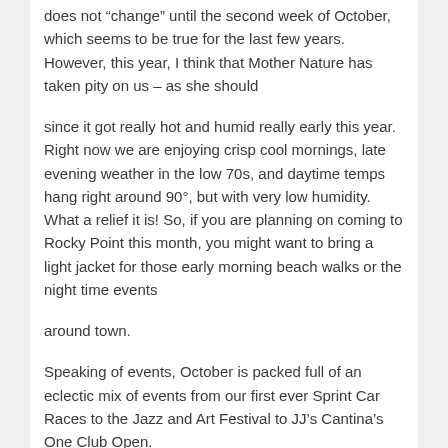does not “change” until the second week of October, which seems to be true for the last few years. However, this year, I think that Mother Nature has taken pity on us – as she should
since it got really hot and humid really early this year. Right now we are enjoying crisp cool mornings, late evening weather in the low 70s, and daytime temps hang right around 90°, but with very low humidity. What a relief it is! So, if you are planning on coming to Rocky Point this month, you might want to bring a light jacket for those early morning beach walks or the night time events
around town.
Speaking of events, October is packed full of an eclectic mix of events from our first ever Sprint Car Races to the Jazz and Art Festival to JJ’s Cantina’s One Club Open.